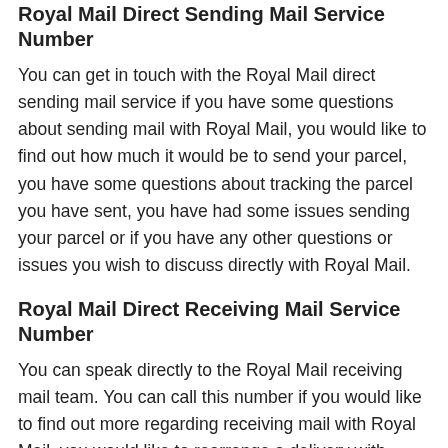Royal Mail Direct Sending Mail Service Number
You can get in touch with the Royal Mail direct sending mail service if you have some questions about sending mail with Royal Mail, you would like to find out how much it would be to send your parcel, you have some questions about tracking the parcel you have sent, you have had some issues sending your parcel or if you have any other questions or issues you wish to discuss directly with Royal Mail.
Royal Mail Direct Receiving Mail Service Number
You can speak directly to the Royal Mail receiving mail team. You can call this number if you would like to find out more regarding receiving mail with Royal Mail, you would like to rearrange a delivery with Royal Mail, you have received a red card saying your parcel was left somewhere safe or with a neighbour but you cannot find